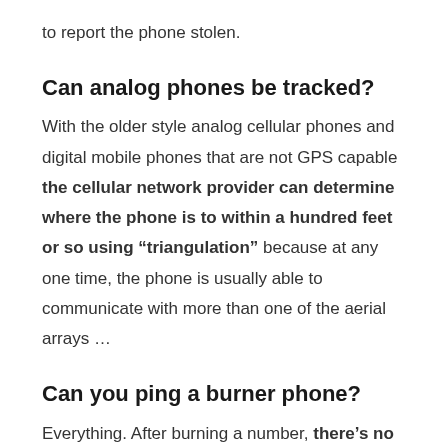to report the phone stolen.
Can analog phones be tracked?
With the older style analog cellular phones and digital mobile phones that are not GPS capable the cellular network provider can determine where the phone is to within a hundred feet or so using “triangulation” because at any one time, the phone is usually able to communicate with more than one of the aerial arrays …
Can you ping a burner phone?
Everything. After burning a number, there’s no way